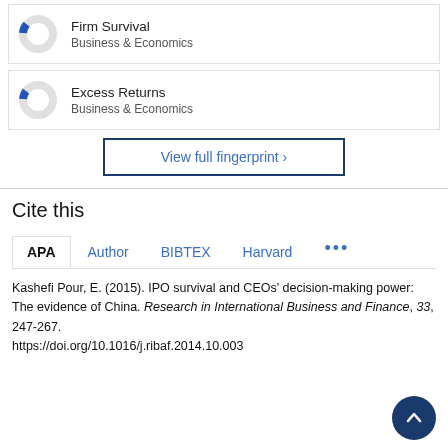[Figure (donut-chart): Donut chart for Firm Survival – Business & Economics, small blue segment roughly 10%]
Firm Survival
Business & Economics
[Figure (donut-chart): Donut chart for Excess Returns – Business & Economics, small blue segment roughly 10%]
Excess Returns
Business & Economics
View full fingerprint ›
Cite this
APA  Author  BIBTEX  Harvard  •••
Kashefi Pour, E. (2015). IPO survival and CEOs' decision-making power: The evidence of China. Research in International Business and Finance, 33, 247-267. https://doi.org/10.1016/j.ribaf.2014.10.003